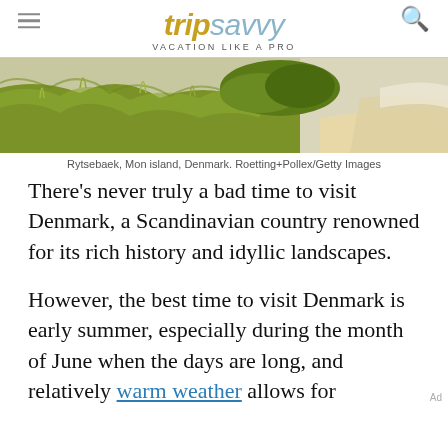tripsavvy VACATION LIKE A PRO
[Figure (photo): Coastal landscape with grassy dunes and sandy beach at Rytsebaek, Mon island, Denmark]
Rytsebaek, Mon island, Denmark. Roetting+Pollex/Getty Images
There's never truly a bad time to visit Denmark, a Scandinavian country renowned for its rich history and idyllic landscapes.
However, the best time to visit Denmark is early summer, especially during the month of June when the days are long, and relatively warm weather allows for